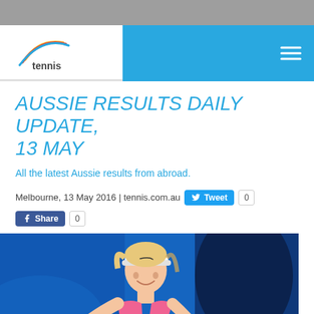tennis.com.au – navigation header with logo
AUSSIE RESULTS DAILY UPDATE, 13 MAY
All the latest Aussie results from abroad.
Melbourne, 13 May 2016 | tennis.com.au
[Figure (photo): Female tennis player wearing a white Nike visor and pink outfit, photographed against a blue background, mid-match expression]